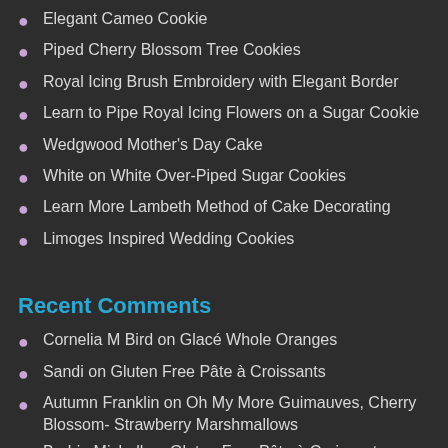Elegant Cameo Cookie
Piped Cherry Blossom Tree Cookies
Royal Icing Brush Embroidery with Elegant Border
Learn to Pipe Royal Icing Flowers on a Sugar Cookie
Wedgwood Mother's Day Cake
White on White Over-Piped Sugar Cookies
Learn More Lambeth Method of Cake Decorating
Limoges Inspired Wedding Cookies
Recent Comments
Cornelia M Bird on Glacé Whole Oranges
Sandi on Gluten Free Pâte à Croissants
Autumn Franklin on Oh My More Guimauves, Cherry Blossom- Strawberry Marshmallows
Barbie Michell on Gluten Free Pâte à Croissants